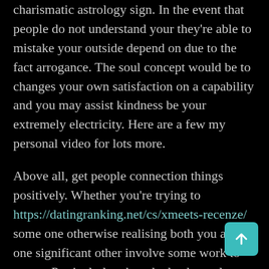charismatic astrology sign. In the event that people do not understand your they're able to mistake your outside depend on due to the fact arrogance. The soul concept would be to changes your own satisfaction on a capability and you may assist kindness be your extremely electricity. Here are a few my personal video for lots more.
Above all, get people connection things positively. Whether you're trying to https://datingranking.net/cs/xmeets-recenze/ some one otherwise realising both you and one significant other involve some work to create. Particularly when the leader and you can Saturn get together for the right here on this new 4 th. In the event the the performing it is